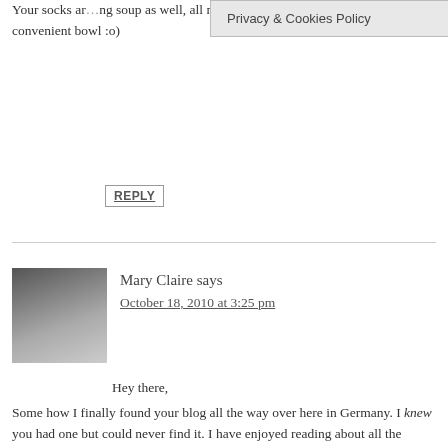Your socks ar... ng soup as well, all my favorites combined into one convenient bowl :o)
REPLY
[Figure (other): Privacy & Cookies Policy overlay banner]
[Figure (photo): Avatar photo of Mary Claire]
Mary Claire says
October 18, 2010 at 3:25 pm
Hey there,
Some how I finally found your blog all the way over here in Germany. I knew you had one but could never find it. I have enjoyed reading about all the dishes you have been making. Can't wait to try them all! This one will be especially good for the cold weather ahead! I also love your writing style! Keep up the good work- you're international now;)